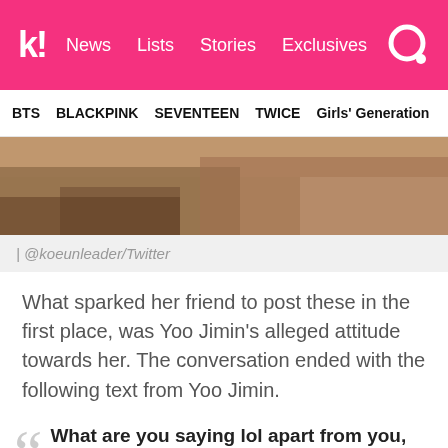k! News Lists Stories Exclusives
BTS  BLACKPINK  SEVENTEEN  TWICE  Girls' Generation
[Figure (photo): Close-up photo of fabric/clothing in brown/tan tones]
| @koeunleader/Twitter
What sparked her friend to post these in the first place, was Yoo Jimin's alleged attitude towards her. The conversation ended with the following text from Yoo Jimin.
What are you saying lol apart from you, there's many other substitutes that will listen to me talking so if you don't want